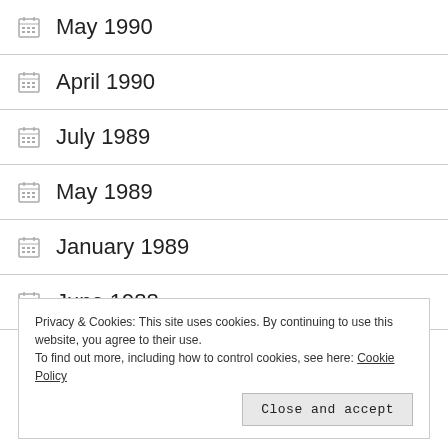May 1990
April 1990
July 1989
May 1989
January 1989
June 1988
April 1988
Privacy & Cookies: This site uses cookies. By continuing to use this website, you agree to their use.
To find out more, including how to control cookies, see here: Cookie Policy
Close and accept